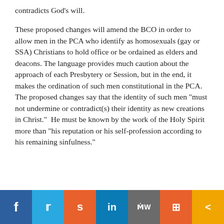contradicts God’s will.
These proposed changes will amend the BCO in order to allow men in the PCA who identify as homosexuals (gay or SSA) Christians to hold office or be ordained as elders and deacons. The language provides much caution about the approach of each Presbytery or Session, but in the end, it makes the ordination of such men constitutional in the PCA.  The proposed changes say that the identity of such men “must not undermine or contradict(s) their identity as new creations in Christ.”  He must be known by the work of the Holy Spirit more than “his reputation or his self-profession according to his remaining sinfulness.”
[Figure (other): Social sharing bar with buttons for Facebook, Twitter, Reddit, LinkedIn, MW, Mix, and Share]